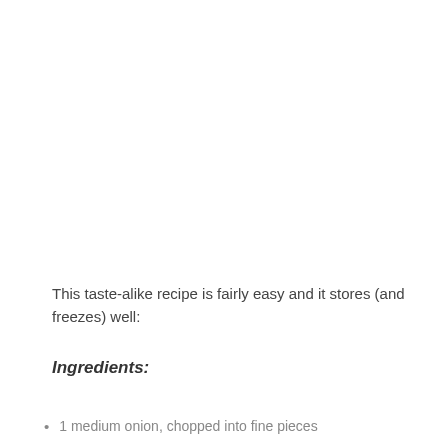This taste-alike recipe is fairly easy and it stores (and freezes) well:
Ingredients:
1 medium onion, chopped into fine pieces